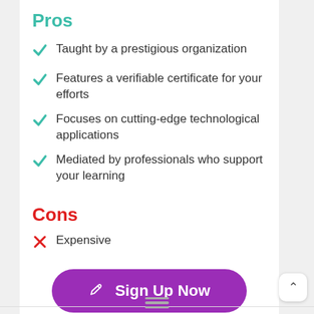Pros
Taught by a prestigious organization
Features a verifiable certificate for your efforts
Focuses on cutting-edge technological applications
Mediated by professionals who support your learning
Cons
Expensive
Sign Up Now